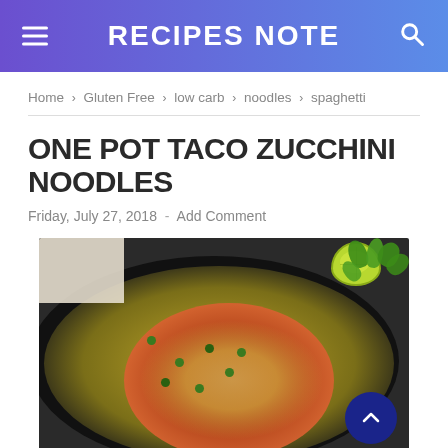RECIPES NOTE
Home › Gluten Free › low carb › noodles › spaghetti
ONE POT TACO ZUCCHINI NOODLES
Friday, July 27, 2018  -  Add Comment
[Figure (photo): Overhead view of a cast iron skillet filled with zucchini noodles (zoodles) topped with taco meat sauce, melted cheese, and fresh cilantro. A lime half and fresh cilantro sprigs are visible in the background.]